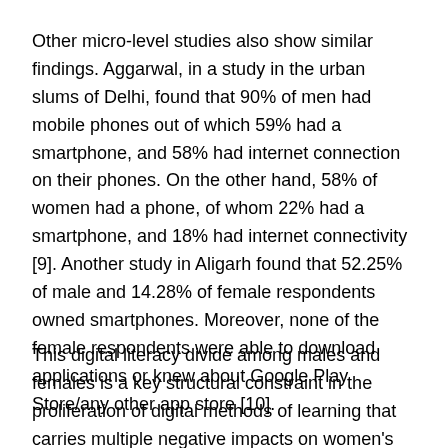Other micro-level studies also show similar findings. Aggarwal, in a study in the urban slums of Delhi, found that 90% of men had mobile phones out of which 59% had a smartphone, and 58% had internet connection on their phones. On the other hand, 58% of women had a phone, of whom 22% had a smartphone, and 18% had internet connectivity [9]. Another study in Aligarh found that 52.25% of male and 14.28% of female respondents owned smartphones. Moreover, none of the female respondents were able to download applications or knew about Google Play Store/any other app store [10].
This digital literacy divide among males and females is a key structural constraint in the proliferation of digital methods of learning that carries multiple negative impacts on women's educational attainment, skill